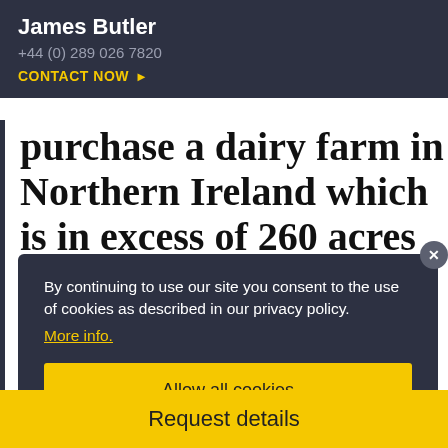James Butler
+44 (0) 289 026 7820
CONTACT NOW ▶
purchase a dairy farm in Northern Ireland which is in excess of 260 acres and lies in a contiguous block. With lots
[Figure (screenshot): Cookie consent popup overlay with dark background, text 'By continuing to use our site you consent to the use of cookies as described in our privacy policy. More info.' and yellow 'Allow all cookies' button, with an X close button.]
there are also opportunities for
a small holding.
Request details